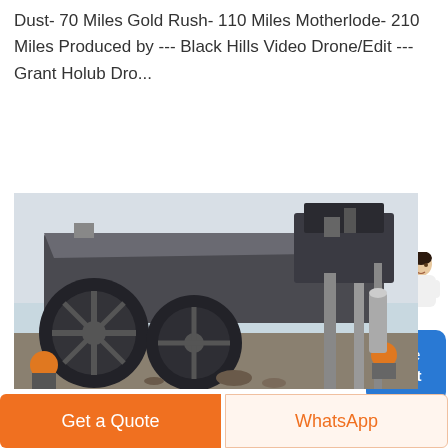Dust- 70 Miles Gold Rush- 110 Miles Motherlode- 210 Miles Produced by --- Black Hills Video Drone/Edit --- Grant Holub Dro...
[Figure (photo): Large industrial mining or crushing equipment photographed outdoors, showing heavy metal machinery with workers in orange hard hats visible at the bottom.]
Get a Quote
WhatsApp